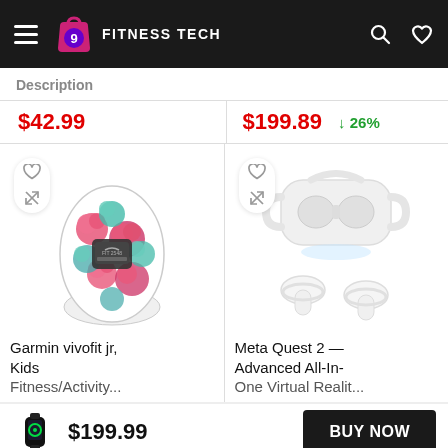FITNESS TECH
Description
$42.99
$199.89  ↓ 26%
[Figure (photo): Garmin vivofit jr kids fitness tracker with floral pattern band]
Garmin vivofit jr, Kids Fitness/Activity...
[Figure (photo): Meta Quest 2 VR headset with controllers]
Meta Quest 2 — Advanced All-In-One Virtual Realit...
$199.99
BUY NOW